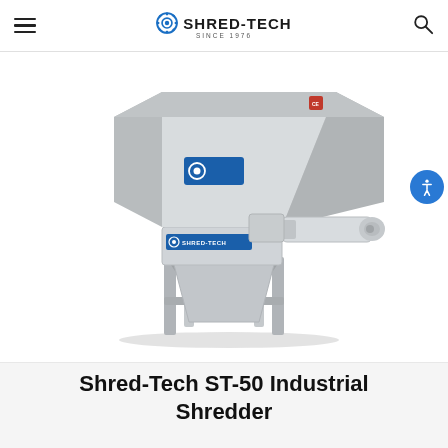SHRED-TECH SINCE 1976 (navigation header with hamburger menu and search icon)
[Figure (photo): Shred-Tech ST-50 Industrial Shredder machine – a large grey industrial shredder with a wide hopper/funnel on top, a horizontal motor drive assembly on the side, and a steel leg frame stand. Blue Shred-Tech branding panel visible on the machine body.]
Shred-Tech ST-50 Industrial Shredder